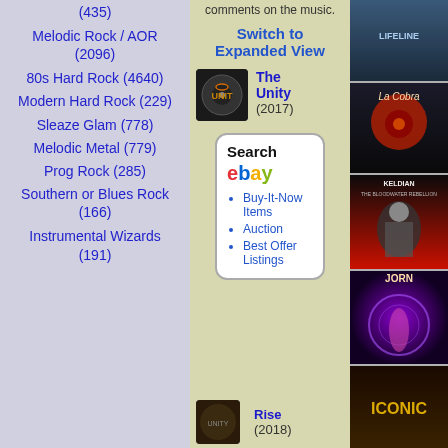(435)
Melodic Rock / AOR (2096)
80s Hard Rock (4640)
Modern Hard Rock (229)
Sleaze Glam (778)
Melodic Metal (779)
Prog Rock (285)
Southern or Blues Rock (166)
Instrumental Wizards (191)
comments on the music.
Switch to Expanded View
[Figure (other): The Unity album (2017) thumbnail]
The Unity (2017)
[Figure (other): eBay search box with Buy-It-Now Items, Auction, Best Offer Listings]
[Figure (other): Album art: Lifeline]
[Figure (other): Album art: La Cobra]
[Figure (other): Album art: Keldian - The Bloodwater Rebellion]
[Figure (other): Album art: Jorn]
[Figure (other): Album art: Iconic]
Rise (2018)